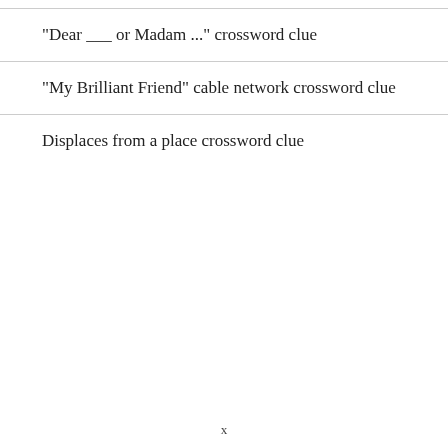"Dear ___ or Madam ..." crossword clue
"My Brilliant Friend" cable network crossword clue
Displaces from a place crossword clue
x